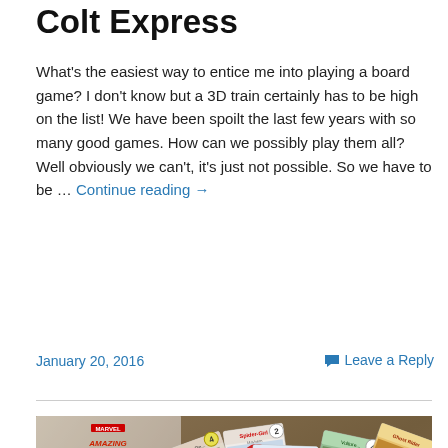Colt Express
What's the easiest way to entice me into playing a board game? I don't know but a 3D train certainly has to be high on the list! We have been spoilt the last few years with so many good games. How can we possibly play them all? Well obviously we can't, it's just not possible. So we have to be … Continue reading →
January 20, 2016
Leave a Reply
[Figure (photo): Photo of Amazing Spider-Man Dice Masters board game box with several game cards fanned out on a wooden table surface, including Spider-Girl, Spider-Man, Ghost Rider cards, and a red die visible.]